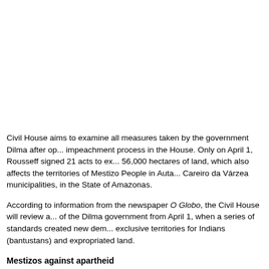Civil House aims to examine all measures taken by the government Dilma after op... impeachment process in the House. Only on April 1, Rousseff signed 21 acts to ex... 56,000 hectares of land, which also affects the territories of Mestizo People in Auta... Careiro da Várzea municipalities, in the State of Amazonas.
According to information from the newspaper O Globo, the Civil House will review a... of the Dilma government from April 1, when a series of standards created new dem... exclusive territories for Indians (bantustans) and expropriated land.
Mestizos against apartheid
On April 1, the Communist white president signed 21 acts to expropriate 56,000 he... land for the creation of bantustans and ethnic cleansing of the Mestizo People and... Indians. The Nação Mestica has sought legal remedies against racist measure wh...